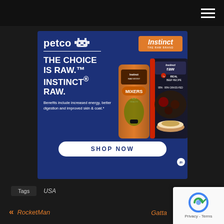Navigation bar with hamburger menu icon
[Figure (infographic): Petco and Instinct Raw ad banner on dark blue background. Shows Petco logo with decorative cat/pet icon, Instinct brand badge in orange. Headline: THE CHOICE IS RAW.™ INSTINCT® RAW. Body text: Benefits include increased energy, better digestion and improved skin & coat.* Product images of Instinct Raw Boost Mixers and Instinct Raw Real Beef Recipe packages. SHOP NOW button in white pill shape.]
Tags   USA
<< RocketMan
Gatta